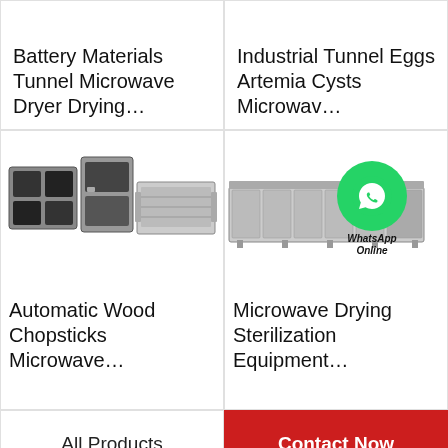Battery Materials Tunnel Microwave Dryer Drying…
Industrial Tunnel Eggs Artemia Cysts Microwav…
[Figure (photo): Industrial microwave dryer equipment and oven units for wood chopsticks]
[Figure (photo): Industrial tunnel microwave drying sterilization equipment with WhatsApp Online badge overlay]
Automatic Wood Chopsticks Microwave…
Microwave Drying Sterilization Equipment…
All Products
Contact Now